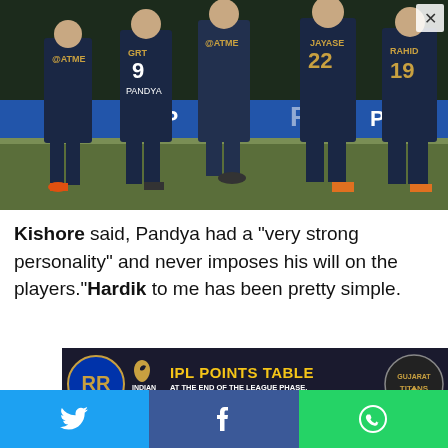[Figure (photo): Cricket players in navy blue Gujarat Titans IPL jerseys on the field, players wearing numbers 9, 22, 19; stadium advertising boards visible including 'uPa' branding; players appear to be celebrating or walking on the pitch]
Kishore said, Pandya had a "very strong personality" and never imposes his will on the players."Hardik to me has been pretty simple.
[Figure (infographic): IPL Points Table advertisement banner featuring Rajasthan Royals logo, Indian Premier League bird logo, text 'IPL POINTS TABLE AT THE END OF THE LEAGUE PHASE, HERE'S THE FINAL PECKING ORDER', and Gujarat Titans logo]
[Figure (infographic): Social media share bar with Twitter (blue), Facebook (dark blue), and WhatsApp (green) icons]